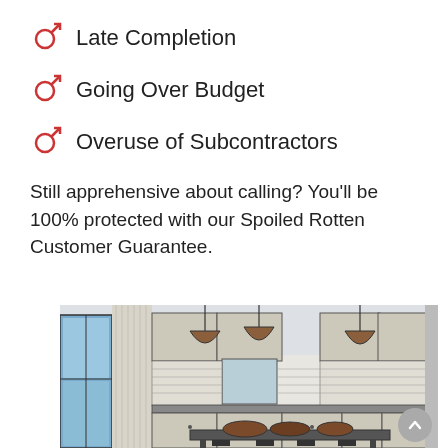Late Completion
Going Over Budget
Overuse of Subcontractors
Still apprehensive about calling? You'll be 100% protected with our Spoiled Rotten Customer Guarantee.
[Figure (illustration): Architectural sketch/illustration of a kitchen interior showing cabinetry, pendant lights, an island with bowls, and a view through glass doors to a garden.]